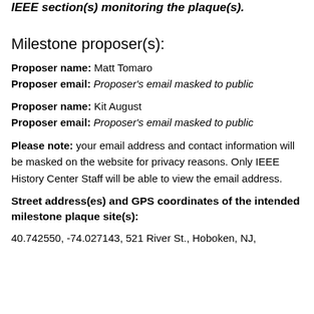IEEE section(s) monitoring the plaque(s).
Milestone proposer(s):
Proposer name: Matt Tomaro
Proposer email: Proposer's email masked to public
Proposer name: Kit August
Proposer email: Proposer's email masked to public
Please note: your email address and contact information will be masked on the website for privacy reasons. Only IEEE History Center Staff will be able to view the email address.
Street address(es) and GPS coordinates of the intended milestone plaque site(s):
40.742550, -74.027143, 521 River St., Hoboken, NJ,